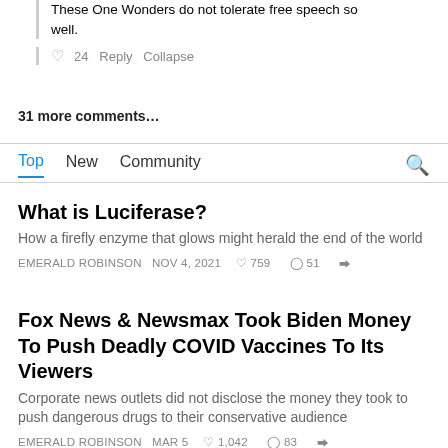These One Wonders do not tolerate free speech so well.
♡ 24  Reply  Collapse
31 more comments…
Top  New  Community
What is Luciferase?
How a firefly enzyme that glows might herald the end of the world
EMERALD ROBINSON  NOV 4, 2021  ♡ 759  ○ 51  ⇧
Fox News & Newsmax Took Biden Money To Push Deadly COVID Vaccines To Its Viewers
Corporate news outlets did not disclose the money they took to push dangerous drugs to their conservative audience
EMERALD ROBINSON  MAR 5  ♡ 1,042  ○ 83  ⇧